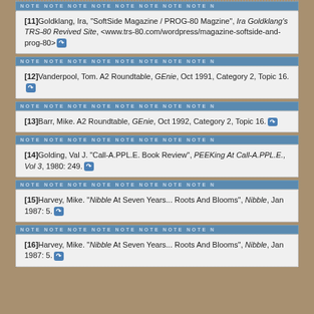[11] Goldklang, Ira, "SoftSide Magazine / PROG-80 Magzine", Ira Goldklang's TRS-80 Revived Site, <www.trs-80.com/wordpress/magazine-softside-and-prog-80>
[12] Vanderpool, Tom. A2 Roundtable, GEnie, Oct 1991, Category 2, Topic 16.
[13] Barr, Mike. A2 Roundtable, GEnie, Oct 1992, Category 2, Topic 16.
[14] Golding, Val J. "Call-A.PPL.E. Book Review", PEEKing At Call-A.PPL.E., Vol 3, 1980: 249.
[15] Harvey, Mike. "Nibble At Seven Years... Roots And Blooms", Nibble, Jan 1987: 5.
[16] Harvey, Mike. "Nibble At Seven Years... Roots And Blooms", Nibble, Jan 1987: 5.